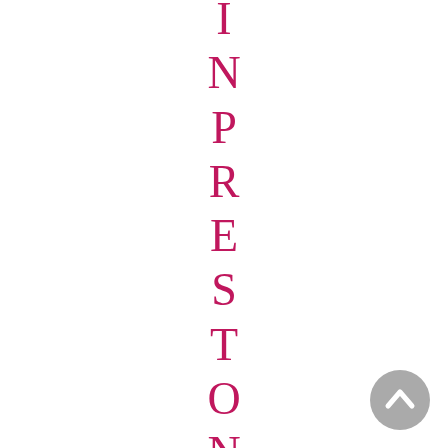IN PRESTON?
[Figure (illustration): Gray circular scroll-to-top button with upward-pointing chevron arrow, positioned bottom-right]